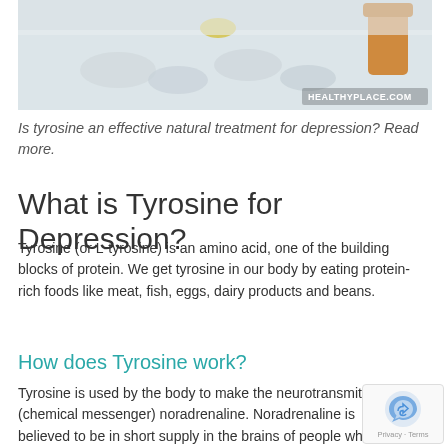[Figure (photo): Photo of pills/medication on a white surface with an orange pill bottle, watermarked HEALTHYPLACE.COM]
Is tyrosine an effective natural treatment for depression? Read more.
What is Tyrosine for Depression?
Tyrosine (or L-tyrosine) is an amino acid, one of the building blocks of protein. We get tyrosine in our body by eating protein-rich foods like meat, fish, eggs, dairy products and beans.
How does Tyrosine work?
Tyrosine is used by the body to make the neurotransmitter (chemical messenger) noradrenaline. Noradrenaline is believed to be in short supply in the brains of people who are depressed.